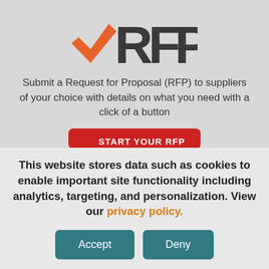[Figure (logo): RFP logo with orange checkmark and dark grey letters RFP]
Submit a Request for Proposal (RFP) to suppliers of your choice with details on what you need with a click of a button
START YOUR RFP
This website stores data such as cookies to enable important site functionality including analytics, targeting, and personalization. View our privacy policy.
Accept
Deny